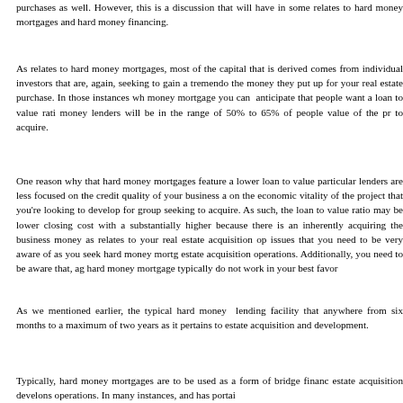purchases as well. However, this is a discussion that will have in some relates to hard money mortgages and hard money financing.
As relates to hard money mortgages, most of the capital that is derived comes from individual investors that are, again, seeking to gain a tremendous the money they put up for your real estate purchase. In those instances wh money mortgage you can anticipate that people want a loan to value rati money lenders will be in the range of 50% to 65% of people value of the pr to acquire.
One reason why that hard money mortgages feature a lower loan to value particular lenders are less focused on the credit quality of your business a on the economic vitality of the project that you're looking to develop for group seeking to acquire. As such, the loan to value ratio may be lower closing cost with a substantially higher because there is an inherently acquiring the business money as relates to your real estate acquisition op issues that you need to be very aware of as you seek hard money mortg estate acquisition operations. Additionally, you need to be aware that, ag hard money mortgage typically do not work in your best favor
As we mentioned earlier, the typical hard money lending facility that anywhere from six months to a maximum of two years as it pertains to estate acquisition and development.
Typically, hard money mortgages are to be used as a form of bridge financ estate acquisition develons operations. In many instances, and has portai